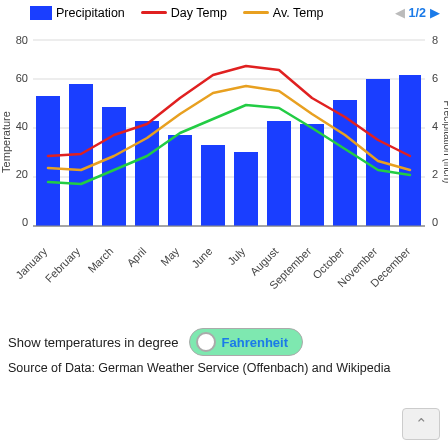[Figure (grouped-bar-chart): Temperature and Precipitation by Month]
Show temperatures in degree  Fahrenheit
Source of Data: German Weather Service (Offenbach) and Wikipedia